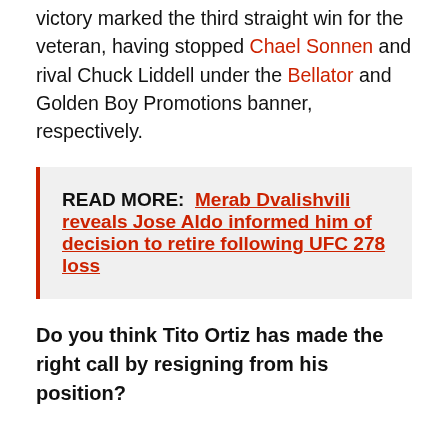victory marked the third straight win for the veteran, having stopped Chael Sonnen and rival Chuck Liddell under the Bellator and Golden Boy Promotions banner, respectively.
READ MORE: Merab Dvalishvili reveals Jose Aldo informed him of decision to retire following UFC 278 loss
Do you think Tito Ortiz has made the right call by resigning from his position?